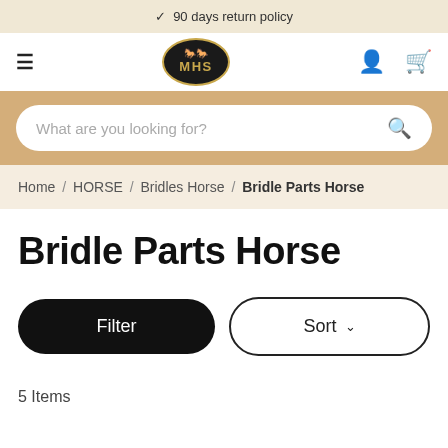✓ 90 days return policy
[Figure (logo): MHS brand logo — black oval with gold border, white horse silhouette on top, gold MHS text below]
What are you looking for?
Home / HORSE / Bridles Horse / Bridle Parts Horse
Bridle Parts Horse
Filter
Sort
5 Items